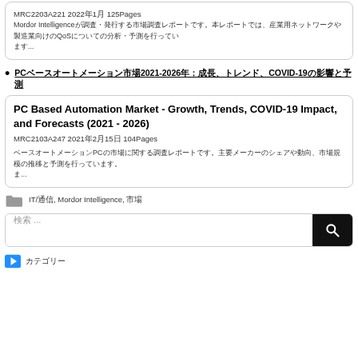MRC2203A221 2022年1月 125Pages
Mordor Intelligenceが調査・発行する市場調査レポートです。本レポートでは、産業用ネットワークや製造業向けのQoSについての分析・予測を行っています...
PCベースオートメーション市場2021-2026年：成長、トレンド、COVID-19の影響と予測
PC Based Automation Market - Growth, Trends, COVID-19 Impact, and Forecasts (2021 - 2026)
MRC2103A247 2021年2月15日 104Pages
ベースオートメーションPCの市場に関する調査レポートです。主要メーカーのシェアや動向、市場規模の推移と予測を行っています。...
IT/通信, Mordor Intelligence, 市場
検索 ...
カテゴリー